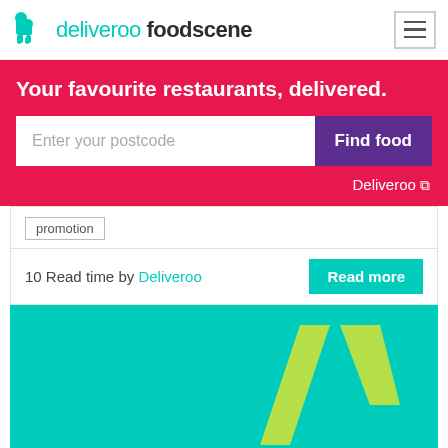deliveroo foodscene
Your favourite restaurants, delivered.
Enter your postcode | Find food
Deliveroo ↗
promotion
10 Read time by Deliveroo
[Figure (illustration): Teal background with lime green Deliveroo kangaroo logo mark (stylized 'roo' symbol)]